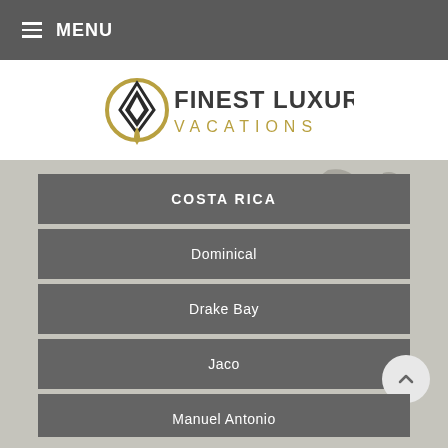≡ MENU
[Figure (logo): Finest Luxury Vacations logo with a diamond/pen nib icon in gold and dark text]
[Figure (map): Partial world map silhouette in grey tones visible in background]
COSTA RICA
Dominical
Drake Bay
Jaco
Manuel Antonio